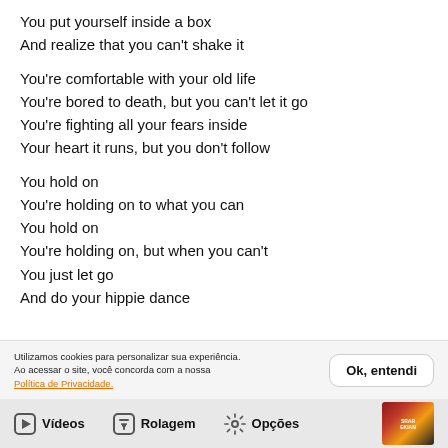You put yourself inside a box
And realize that you can't shake it
You're comfortable with your old life
You're bored to death, but you can't let it go
You're fighting all your fears inside
Your heart it runs, but you don't follow
You hold on
You're holding on to what you can
You hold on
You're holding on, but when you can't
You just let go
And do your hippie dance
Utilizamos cookies para personalizar sua experiência. Ao acessar o site, você concorda com a nossa Política de Privacidade.
Vídeos  Rolagem  Opções